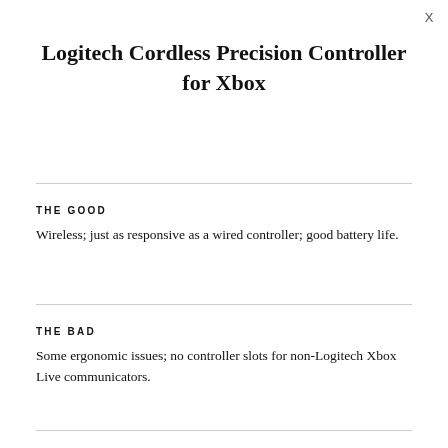Logitech Cordless Precision Controller for Xbox
THE GOOD
Wireless; just as responsive as a wired controller; good battery life.
THE BAD
Some ergonomic issues; no controller slots for non-Logitech Xbox Live communicators.